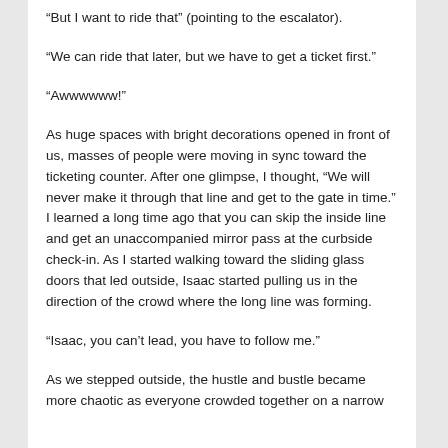“But I want to ride that” (pointing to the escalator).
“We can ride that later, but we have to get a ticket first.”
“Awwwwww!”
As huge spaces with bright decorations opened in front of us, masses of people were moving in sync toward the ticketing counter. After one glimpse, I thought, “We will never make it through that line and get to the gate in time.” I learned a long time ago that you can skip the inside line and get an unaccompanied mirror pass at the curbside check-in. As I started walking toward the sliding glass doors that led outside, Isaac started pulling us in the direction of the crowd where the long line was forming.
“Isaac, you can’t lead, you have to follow me.”
As we stepped outside, the hustle and bustle became more chaotic as everyone crowded together on a narrow